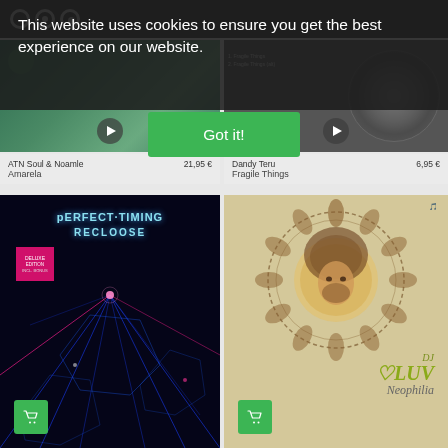This website uses cookies to ensure you get the best experience on our website.
Got it!
ATN Soul & Noamle
Amarela
21,95 €
Dandy Teru
Fragile Things
6,95 €
[Figure (photo): Album art for Perfect Timing by Recloose, with neon laser lines on dark background and pink badge]
[Figure (photo): Album art for DJ Luv Neophilia on a wooden textured background with ornate circular design and face illustration]